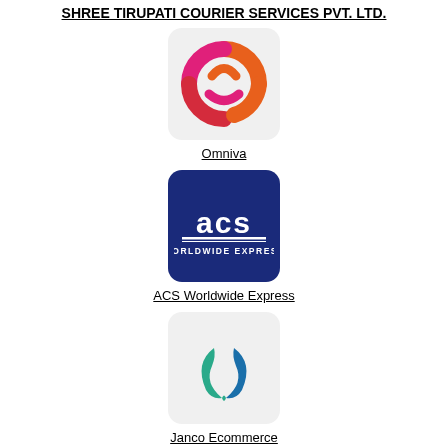SHREE TIRUPATI COURIER SERVICES PVT. LTD.
[Figure (logo): Omniva logo: abstract circular shape in orange, pink and red on light gray rounded square background]
Omniva
[Figure (logo): ACS Worldwide Express logo: white text 'acs WORLDWIDE EXPRESS' on dark blue rounded square background]
ACS Worldwide Express
[Figure (logo): Janco Ecommerce logo: teal and blue swoosh/crescent shape on light gray rounded square background]
Janco Ecommerce